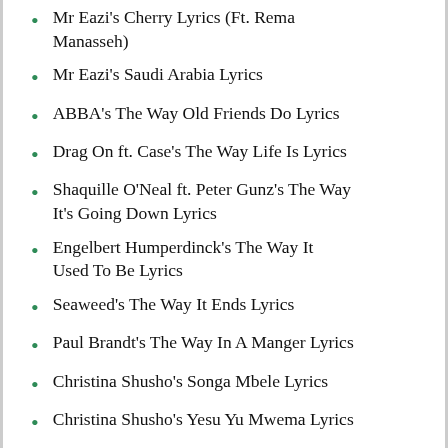Mr Eazi's Cherry Lyrics (Ft. Rema Manasseh)
Mr Eazi's Saudi Arabia Lyrics
ABBA's The Way Old Friends Do Lyrics
Drag On ft. Case's The Way Life Is Lyrics
Shaquille O'Neal ft. Peter Gunz's The Way It's Going Down Lyrics
Engelbert Humperdinck's The Way It Used To Be Lyrics
Seaweed's The Way It Ends Lyrics
Paul Brandt's The Way In A Manger Lyrics
Christina Shusho's Songa Mbele Lyrics
Christina Shusho's Yesu Yu Mwema Lyrics
Christina Shusho's Pendo la Mungu Lyrics
Christina Shusho's Nimuone Yesu Lyrics
Dolly Parton's The Way I See You Lyrics
Rednex's The Way I Mate Lyrics